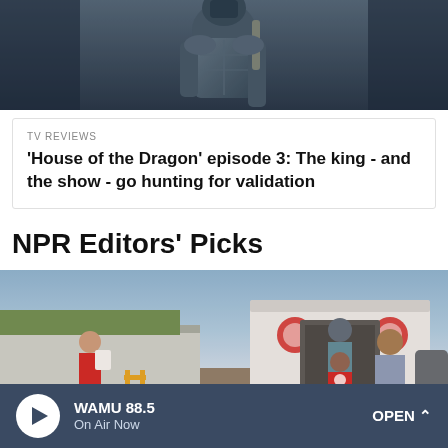[Figure (photo): A warrior/knight in armor holding a weapon, dark bluish tones, from House of the Dragon TV show]
TV REVIEWS
'House of the Dragon' episode 3: The king - and the show - go hunting for validation
NPR Editors' Picks
[Figure (photo): Salvation Army volunteers and workers helping people board a mobile unit truck during what appears to be a disaster relief operation. People in red Salvation Army shirts assist others near a large white truck with Salvation Army logos.]
WAMU 88.5
On Air Now
OPEN